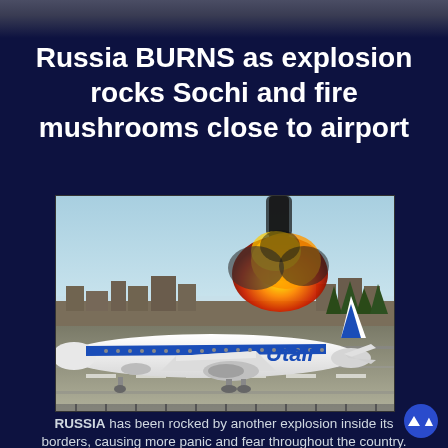Russia BURNS as explosion rocks Sochi and fire mushrooms close to airport
[Figure (photo): A white Utair commercial airplane on a runway with a large orange mushroom-shaped fireball and thick black smoke rising in the background behind buildings and trees]
RUSSIA has been rocked by another explosion inside its borders, causing more panic and fear throughout the country.